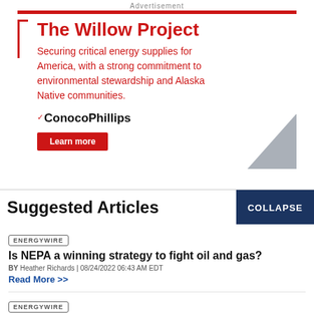Advertisement
[Figure (illustration): ConocoPhillips advertisement for The Willow Project. Red bar at top, red left/top border accent, large red bold title 'The Willow Project', red subtitle text 'Securing critical energy supplies for America, with a strong commitment to environmental stewardship and Alaska Native communities.', ConocoPhillips logo with red checkmark, red 'Learn more' button, gray triangle graphic at bottom right.]
Suggested Articles
COLLAPSE
ENERGYWIRE
Is NEPA a winning strategy to fight oil and gas?
BY Heather Richards | 08/24/2022 06:43 AM EDT
Read More >>
ENERGYWIRE
3 states tell FERC: Western gas project violates climate laws